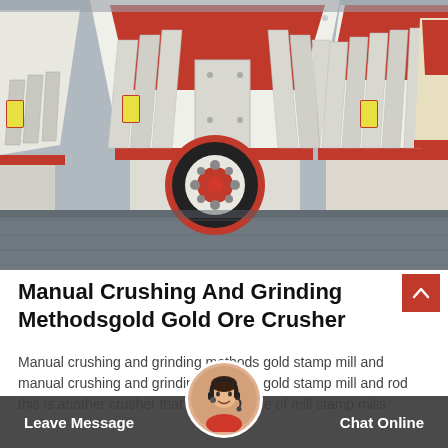[Figure (photo): Industrial hammer/impact crushers lined up in a row, painted white with red accents and a black rubber wheel pulley, displayed in a factory or yard setting.]
Manual Crushing And Grinding Methodsgold Gold Ore Crusher
Manual crushing and grinding methods gold stamp mill and manual crushing and grinding methods gold stamp mill and rod this is another crusher that has the name of mill stamp mills
Leave Message   Chat Online